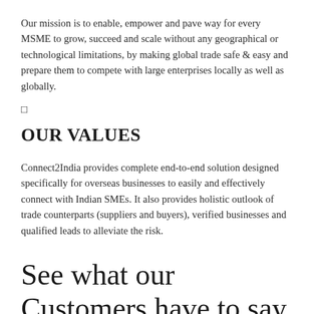Our mission is to enable, empower and pave way for every MSME to grow, succeed and scale without any geographical or technological limitations, by making global trade safe & easy and prepare them to compete with large enterprises locally as well as globally.
□
OUR VALUES
Connect2India provides complete end-to-end solution designed specifically for overseas businesses to easily and effectively connect with Indian SMEs. It also provides holistic outlook of trade counterparts (suppliers and buyers), verified businesses and qualified leads to alleviate the risk.
See what our Customers have to say